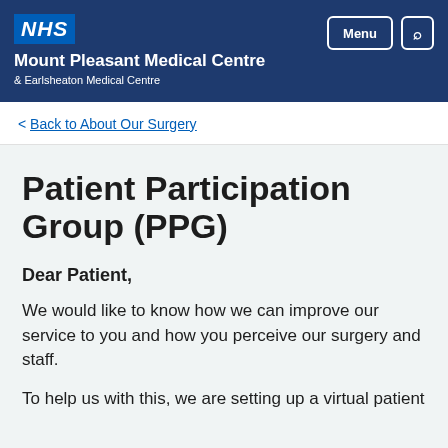NHS | Mount Pleasant Medical Centre & Earlsheaton Medical Centre | Menu | Search
< Back to About Our Surgery
Patient Participation Group (PPG)
Dear Patient,
We would like to know how we can improve our service to you and how you perceive our surgery and staff.
To help us with this, we are setting up a virtual patient